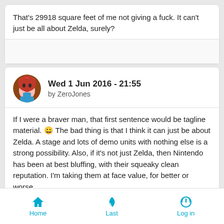That's 29918 square feet of me not giving a fuck. It can't just be all about Zelda, surely?
Wed 1 Jun 2016 - 21:55
by ZeroJones
If I were a braver man, that first sentence would be tagline material. 😀 The bad thing is that I think it can just be about Zelda. A stage and lots of demo units with nothing else is a strong possibility. Also, if it's not just Zelda, then Nintendo has been at best bluffing, with their squeaky clean reputation. I'm taking them at face value, for better or worse.
Home  Last  Log in